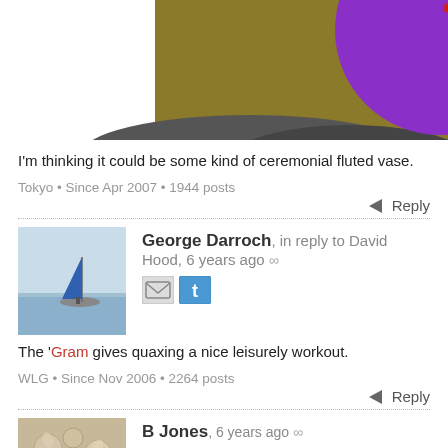[Figure (illustration): Top portion of an artwork showing a purple circle/orb against a dark grey and olive/gold background, partially visible (cropped at top)]
I'm thinking it could be some kind of ceremonial fluted vase.
Tokyo • Since Apr 2007 • 1944 posts
Reply
[Figure (photo): Avatar photo of George Darroch: a sailboat with a blue triangular sail on calm water]
George Darroch, in reply to David Hood, 6 years ago ∞
[Figure (other): Email and Twitter social sharing icons]
The 'Gram gives quaxing a nice leisurely workout.
WLG • Since Nov 2006 • 2264 posts
Reply
[Figure (photo): Avatar photo of B Jones: a close-up of dried flowers or seeds, beige/cream tones]
B Jones, 6 years ago ∞
I guess I quax since I live near a supermarket and regularly pick up stuff on the way home on foot,